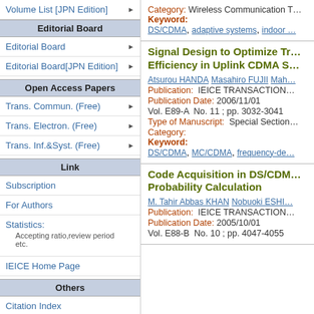Volume List [JPN Edition]
Editorial Board
Editorial Board
Editorial Board[JPN Edition]
Open Access Papers
Trans. Commun. (Free)
Trans. Electron. (Free)
Trans. Inf.&Syst. (Free)
Link
Subscription
For Authors
Statistics:
Accepting ratio,review period etc.
IEICE Home Page
Others
Citation Index
Category: Wireless Communication T...
Keyword:
DS/CDMA, adaptive systems, indoor ...
Signal Design to Optimize Tr... Efficiency in Uplink CDMA S...
Atsurou HANDA  Masahiro FUJII  Mah...
Publication: IEICE TRANSACTION...
Publication Date: 2006/11/01
Vol. E89-A  No. 11 ; pp. 3032-3041
Type of Manuscript: Special Section...
Category:
Keyword:
DS/CDMA, MC/CDMA, frequency-de...
Code Acquisition in DS/CDM... Probability Calculation
M. Tahir Abbas KHAN  Nobuoki ESHI...
Publication: IEICE TRANSACTION...
Publication Date: 2005/10/01
Vol. E88-B  No. 10 ; pp. 4047-4055